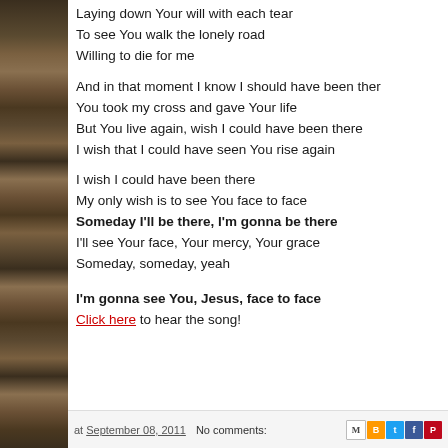[Figure (photo): Stack of old leather-bound books along left sidebar]
Laying down Your will with each tear
To see You walk the lonely road
Willing to die for me
And in that moment I know I should have been there
You took my cross and gave Your life
But You live again, wish I could have been there
I wish that I could have seen You rise again
I wish I could have been there
My only wish is to see You face to face
Someday I'll be there, I'm gonna be there
I'll see Your face, Your mercy, Your grace
Someday, someday, yeah
I'm gonna see You, Jesus, face to face
Click here to hear the song!
at September 08, 2011    No comments: